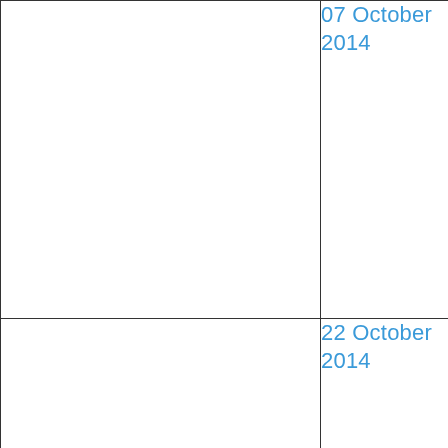|  | 07 October 2014 |
|  | 22 October 2014 |